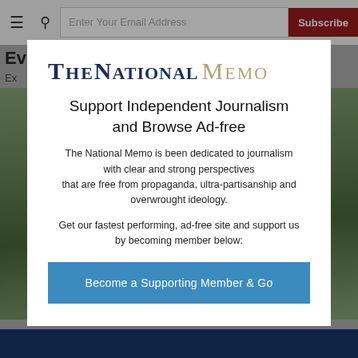≡  🔍  Enter Your Email Address  Subscribe
[Figure (screenshot): Background page with headline starting 'Ev...' and an outdoor photo of a house/building with greenery, plus a dark blue bar at the bottom.]
TheNational Memo
Support Independent Journalism and Browse Ad-free
The National Memo is been dedicated to journalism with clear and strong perspectives that are free from propaganda, ultra-partisanship and overwrought ideology.
Get our fastest performing, ad-free site and support us by becoming member below:
Become a Supporting Member & Go